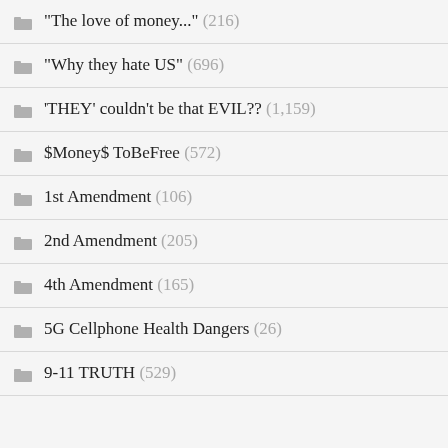"The love of money..." (216)
"Why they hate US" (696)
'THEY' couldn't be that EVIL?? (1,159)
$Money$ ToBeFree (572)
1st Amendment (106)
2nd Amendment (205)
4th Amendment (165)
5G Cellphone Health Dangers (26)
9-11 TRUTH (529)